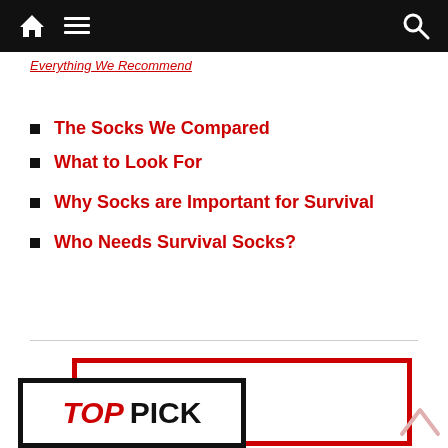Navigation bar with home, menu, and search icons
Everything We Recommend
The Socks We Compared
What to Look For
Why Socks are Important for Survival
Who Needs Survival Socks?
[Figure (other): TOP PICK badge graphic with red border box behind it]